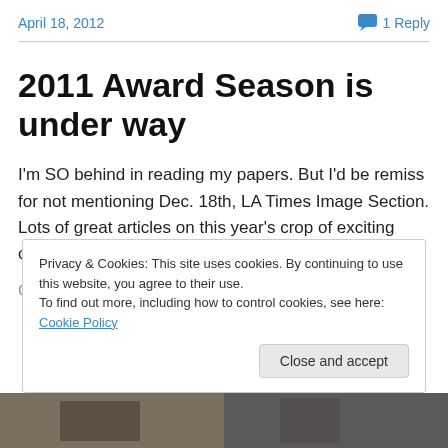April 18, 2012   💬 1 Reply
2011 Award Season is under way
I'm SO behind in reading my papers.  But I'd be remiss for not mentioning Dec. 18th, LA Times Image Section.  Lots of great articles on this year's crop of exciting costumes.
Privacy & Cookies: This site uses cookies. By continuing to use this website, you agree to their use. To find out more, including how to control cookies, see here: Cookie Policy
[Figure (photo): Partial bottom image strip showing a photograph, mostly obscured by cookie banner]